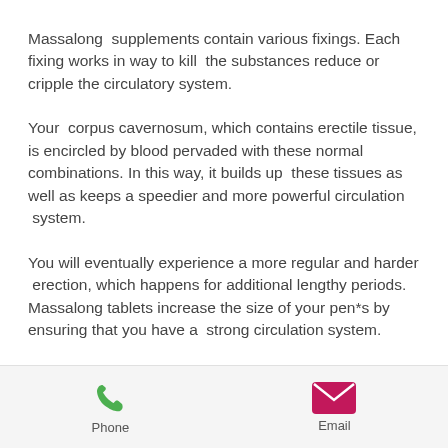Massalong supplements contain various fixings. Each fixing works in way to kill the substances reduce or cripple the circulatory system.
Your corpus cavernosum, which contains erectile tissue, is encircled by blood pervaded with these normal combinations. In this way, it builds up these tissues as well as keeps a speedier and more powerful circulation system.
You will eventually experience a more regular and harder erection, which happens for additional lengthy periods. Massalong tablets increase the size of your pen*s by ensuring that you have a strong circulation system.
[Figure (infographic): Footer bar with Phone (green phone icon) and Email (pink/magenta envelope icon) contact buttons]